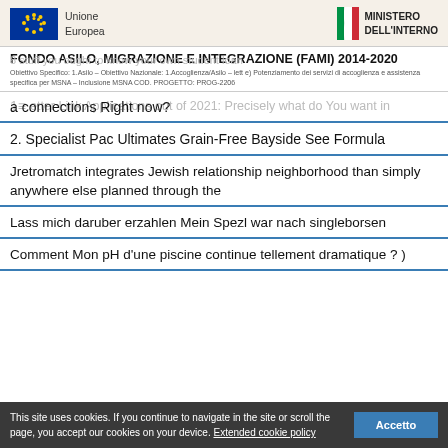Unione Europea | MINISTERO DELL'INTERNO
FONDO ASILO, MIGRAZIONE E INTEGRAZIONE (FAMI) 2014-2020
Obiettivo Specifico: 1.Asilo – Obiettivo Nazionale: 1.Accoglienza/Asilo – lett e) Potenziamento dei servizi di accoglienza e assistenza specifica per MSNA – Inclusione MSNA COD. PROGETTO: PROG-2206
1. Better Link Applications out of 2021: Precisely what do You want in a connections Right now?
2. Specialist Pac Ultimates Grain-Free Bayside See Formula
Jretromatch integrates Jewish relationship neighborhood than simply anywhere else planned through the
Lass mich daruber erzahlen Mein Spezl war nach singleborsen
Comment Mon pH d'une piscine continue tellement dramatique ? )
This site uses cookies. If you continue to navigate in the site or scroll the page, you accept our cookies on your device. Extended cookie policy   Accetto